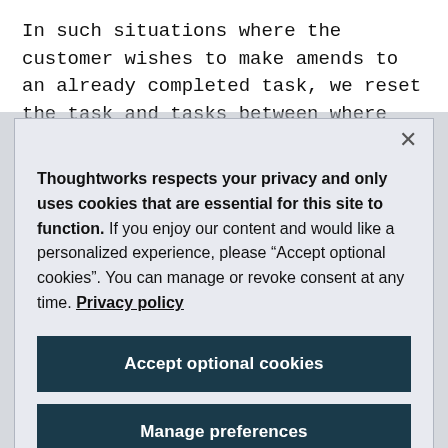In such situations where the customer wishes to make amends to an already completed task, we reset the task and tasks between where the customer is and the one they wish to modify.
Thoughtworks respects your privacy and only uses cookies that are essential for this site to function. If you enjoy our content and would like a personalized experience, please “Accept optional cookies”. You can manage or revoke consent at any time. Privacy policy
Accept optional cookies
Manage preferences